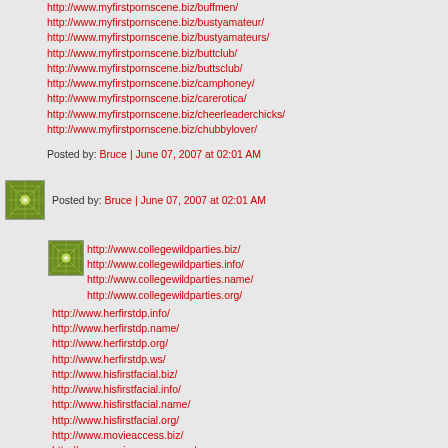http://www.myfirstpornscene.biz/buffmen/
http://www.myfirstpornscene.biz/bustyamateur/
http://www.myfirstpornscene.biz/bustyamateurs/
http://www.myfirstpornscene.biz/buttclub/
http://www.myfirstpornscene.biz/buttsclub/
http://www.myfirstpornscene.biz/camphoney/
http://www.myfirstpornscene.biz/carerotica/
http://www.myfirstpornscene.biz/cheerleaderchicks/
http://www.myfirstpornscene.biz/chubbylover/
Posted by: Bruce | June 07, 2007 at 02:01 AM
[Figure (illustration): Green geometric pattern avatar]
Posted by: Bruce | June 07, 2007 at 02:01 AM
[Figure (illustration): Green geometric pattern avatar smaller]
http://www.collegewildparties.biz/
http://www.collegewildparties.info/
http://www.collegewildparties.name/
http://www.collegewildparties.org/
http://www.herfirstdp.info/
http://www.herfirstdp.name/
http://www.herfirstdp.org/
http://www.herfirstdp.ws/
http://www.hisfirstfacial.biz/
http://www.hisfirstfacial.info/
http://www.hisfirstfacial.name/
http://www.hisfirstfacial.org/
http://www.movieaccess.biz/
http://www.movieaccess.name/
http://www.movieaccess.ws/
http://www.wildfucktoys.biz/
http://www.wildfucktoys.info/
http://www.wildfucktoys.name/
http://www.wildfucktoys.org/